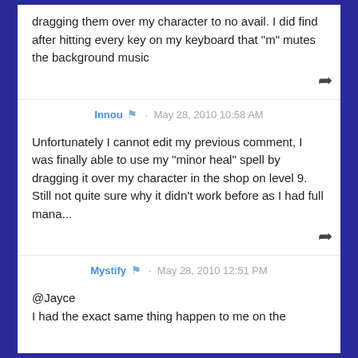dragging them over my character to no avail. I did find after hitting every key on my keyboard that "m" mutes the background music
Innou · May 28, 2010 10:58 AM
Unfortunately I cannot edit my previous comment, I was finally able to use my "minor heal" spell by dragging it over my character in the shop on level 9. Still not quite sure why it didn't work before as I had full mana...
Mystify · May 28, 2010 12:51 PM
@Jayce
I had the exact same thing happen to me on the